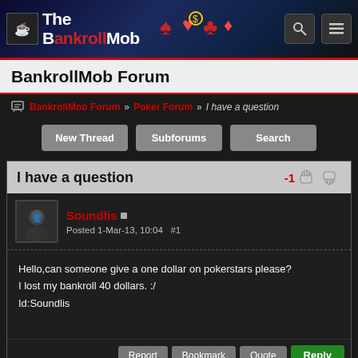[Figure (screenshot): BankrollMob website header banner with logo, poker card imagery, search and menu icons]
BankrollMob Forum
BankrollMob Forum » Poker Forum » I have a question
New Thread
Subforums
Search
I have a question
Soundlis
Posted 1-Mar-13, 10:04  #1
Hello,can someone give a one dollar on pokerstars please?
I lost my bankroll 40 dollars. :/
Id:Soundlis
[Figure (infographic): Wild Pharao casino welcome bonus banner: WELCOME BONUS 250% up to 750 EUR CAD]